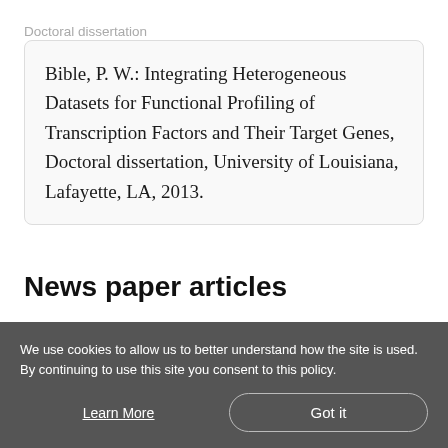Doctoral dissertation
Bible, P. W.: Integrating Heterogeneous Datasets for Functional Profiling of Transcription Factors and Their Target Genes, Doctoral dissertation, University of Louisiana, Lafayette, LA, 2013.
News paper articles
Unlike scholarly journals, news papers do not
We use cookies to allow us to better understand how the site is used. By continuing to use this site you consent to this policy.
Learn More
Got it